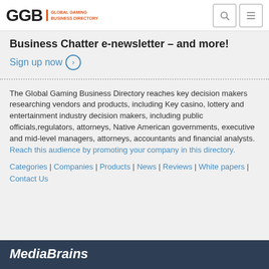GGB GLOBAL GAMING BUSINESS DIRECTORY
Business Chatter e-newsletter – and more!
Sign up now
The Global Gaming Business Directory reaches key decision makers researching vendors and products, including Key casino, lottery and entertainment industry decision makers, including public officials,regulators, attorneys, Native American governments, executive and mid-level managers, attorneys, accountants and financial analysts. Reach this audience by promoting your company in this directory.
Categories | Companies | Products | News | Reviews | White papers | Contact Us
MediaBrains